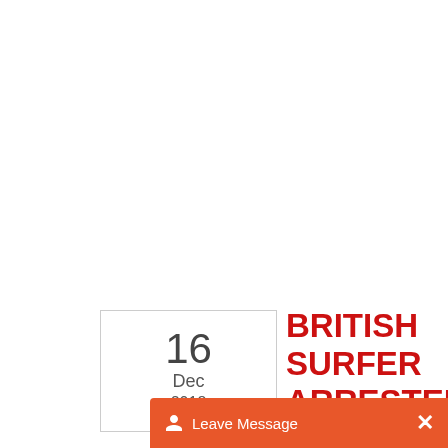BRITISH SURFER ARRESTED AT POST OFFICE WHEN TEMPTED TO COLLECT PACKE...
16 Dec 2018